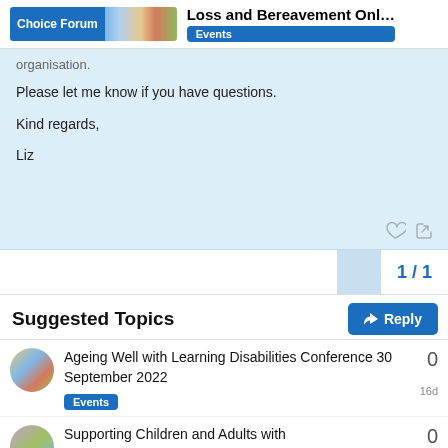Choice Forum | Loss and Bereavement Onl... | Events
organisation.
Please let me know if you have questions.

Kind regards,

Liz
1 / 1
Reply
Suggested Topics
Ageing Well with Learning Disabilities Conference 30 September 2022
Events
0
16d
Supporting Children and Adults with